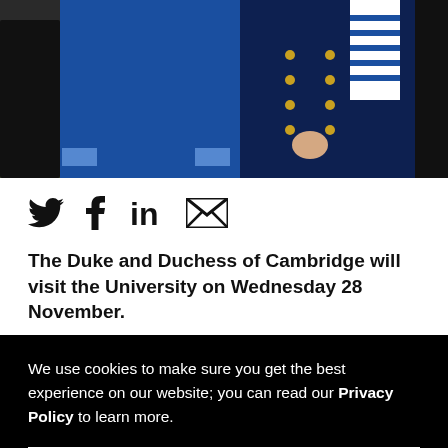[Figure (photo): Photo of the Duke and Duchess of Cambridge walking outdoors, man in blue sweater, woman in navy military-style jacket with gold buttons]
[Figure (infographic): Social media share icons: Twitter bird, Facebook f, LinkedIn in, Email envelope]
The Duke and Duchess of Cambridge will visit the University on Wednesday 28 November.
We use cookies to make sure you get the best experience on our website; you can read our Privacy Policy to learn more.
Accept cookies